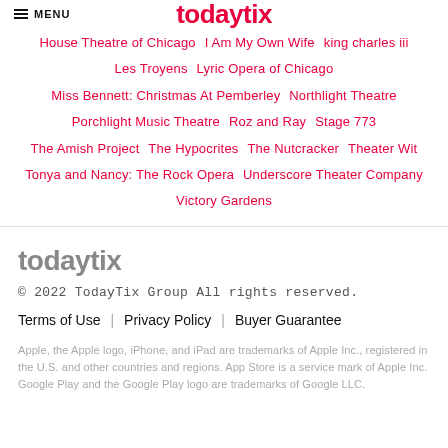MENU | todaytix
House Theatre of Chicago  I Am My Own Wife  king charles iii  Les Troyens  Lyric Opera of Chicago  Miss Bennett: Christmas At Pemberley  Northlight Theatre  Porchlight Music Theatre  Roz and Ray  Stage 773  The Amish Project  The Hypocrites  The Nutcracker  Theater Wit  Tonya and Nancy: The Rock Opera  Underscore Theater Company  Victory Gardens
[Figure (logo): TodayTix logo in gray]
© 2022 TodayTix Group All rights reserved.
Terms of Use  |  Privacy Policy  |  Buyer Guarantee
Apple, the Apple logo, iPhone, and iPad are trademarks of Apple Inc., registered in the U.S. and other countries and regions. App Store is a service mark of Apple Inc. Google Play and the Google Play logo are trademarks of Google LLC.